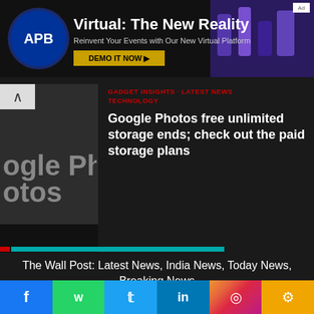[Figure (screenshot): Advertisement banner for 'Virtual: The New Reality' with APB logo, subtitle 'Reinvent Your Events with Our New Virtual Platform', and 'DEMO IT NOW' button]
[Figure (screenshot): Article thumbnail showing partial Google Photos logo text 'ogle Pho' with back arrow]
GADGET INSIGHTS · LATEST NEWS · TECHNOLOGY
Google Photos free unlimited storage ends; check out the paid storage plans
The Wall Post: Latest News, India News, Today News, Breaking News
Contact Us   About Us   Privacy Policy   Terms & Conditions
Legal DISCLAIMER
[Figure (screenshot): Social media icon buttons: Facebook, Twitter, Instagram, LinkedIn, Pinterest, Tumblr]
Copyright © 2022 . The Wall Post ® | All Rights Reserved
[Figure (screenshot): Bottom social media bar with Facebook, WhatsApp, Twitter, LinkedIn, Instagram, and share icons]